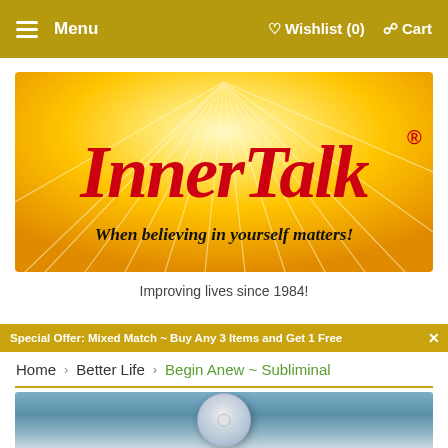Menu   Wishlist (0)   Cart
[Figure (logo): InnerTalk logo banner with script red lettering on yellow/gold sunburst gradient background. Tagline reads: When believing in yourself matters!]
Improving lives since 1984!
Special Offer: Mixed Match ~ Buy Any 3 Items and Get 1 Free
Home > Better Life > Begin Anew ~ Subliminal
[Figure (photo): Bottom portion of a CD disc product image on blue-grey background, partially visible at bottom of page]